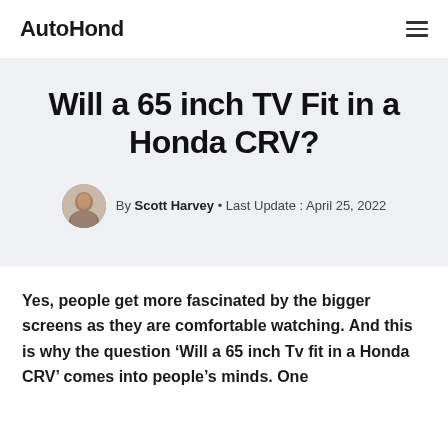AutoHond
Will a 65 inch TV Fit in a Honda CRV?
By Scott Harvey • Last Update : April 25, 2022
Yes, people get more fascinated by the bigger screens as they are comfortable watching. And this is why the question 'Will a 65 inch Tv fit in a Honda CRV' comes into people's minds. One